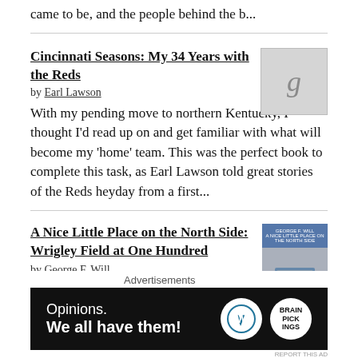came to be, and the people behind the b...
Cincinnati Seasons: My 34 Years with the Reds
by Earl Lawson
With my pending move to northern Kentucky, I thought I'd read up on and get familiar with what will become my 'home' team. This was the perfect book to complete this task, as Earl Lawson told great stories of the Reds heyday from a first...
A Nice Little Place on the North Side: Wrigley Field at One Hundred
by George F. Will
As much as I like the Cubs and Wrigley Field, this was a tough book to get through. There was really no flow or direction to it, which made some of the chapters and stories difficult to read. If it was written more chronologically, with ...
Prophet of the Sandlots: Journeys with a Major League Scout
[Figure (other): Advertisement banner: Opinions. We all have them! with WordPress and another logo]
Advertisements